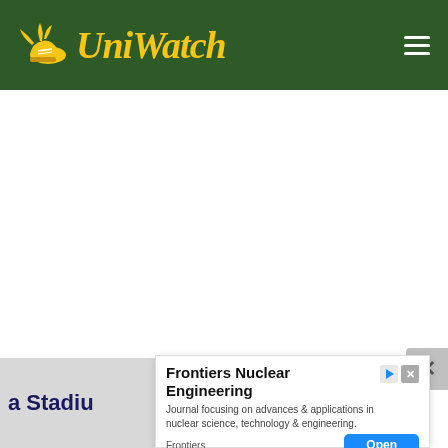Uni Watch
nta Stadium_UW
[Figure (screenshot): White blank content area - main body of Uni Watch webpage]
a Stadiu
[Figure (infographic): Advertisement overlay for Frontiers Nuclear Engineering journal]
Frontiers Nuclear Engineering - Journal focusing on advances & applications in nuclear science, technology & engineering. Frontiers - Open